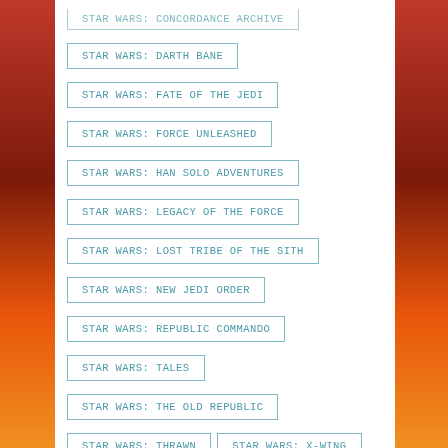STAR WARS: DARTH BANE
STAR WARS: FATE OF THE JEDI
STAR WARS: FORCE UNLEASHED
STAR WARS: HAN SOLO ADVENTURES
STAR WARS: LEGACY OF THE FORCE
STAR WARS: LOST TRIBE OF THE SITH
STAR WARS: NEW JEDI ORDER
STAR WARS: REPUBLIC COMMANDO
STAR WARS: TALES
STAR WARS: THE OLD REPUBLIC
STAR WARS: THRAWN
STAR WARS: X-WING